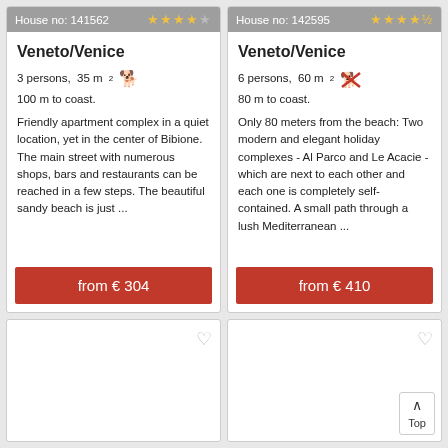House no: 141562 — 4 stars
Veneto/Venice
3 persons, 35 m² [dog allowed]
100 m to coast.
Friendly apartment complex in a quiet location, yet in the center of Bibione. The main street with numerous shops, bars and restaurants can be reached in a few steps. The beautiful sandy beach is just ...
from € 304
House no: 142595 — 4.5 stars
Veneto/Venice
6 persons, 60 m² [no dogs]
80 m to coast.
Only 80 meters from the beach: Two modern and elegant holiday complexes - Al Parco and Le Acacie - which are next to each other and each one is completely self-contained. A small path through a lush Mediterranean ...
from € 410